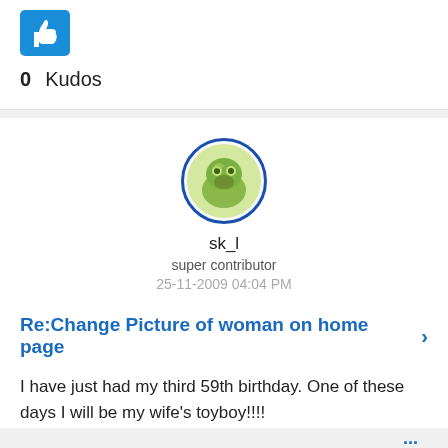[Figure (other): Blue thumbs-up button icon]
0 Kudos
[Figure (illustration): Circular avatar showing a cartoon green creature with blue border]
sk_l
super contributor
25-11-2009 04:04 PM
Re:Change Picture of woman on home page
I have just had my third 59th birthday. One of these days I will be my wife's toyboy!!!!